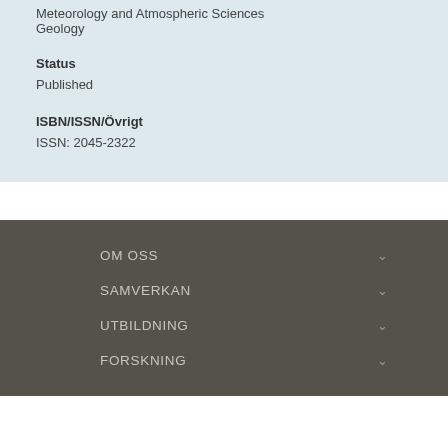Meteorology and Atmospheric Sciences
Geology
Status
Published
ISBN/ISSN/Övrigt
ISSN: 2045-2322
OM OSS
SAMVERKAN
UTBILDNING
FORSKNING